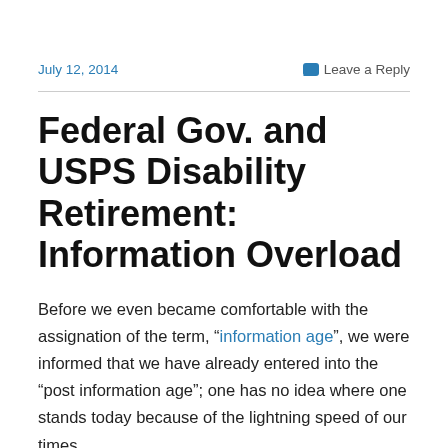July 12, 2014    Leave a Reply
Federal Gov. and USPS Disability Retirement: Information Overload
Before we even became comfortable with the assignation of the term, “information age”, we were informed that we have already entered into the “post information age”; one has no idea where one stands today because of the lightning speed of our times.
Whether human nature can withstand the onslaught of